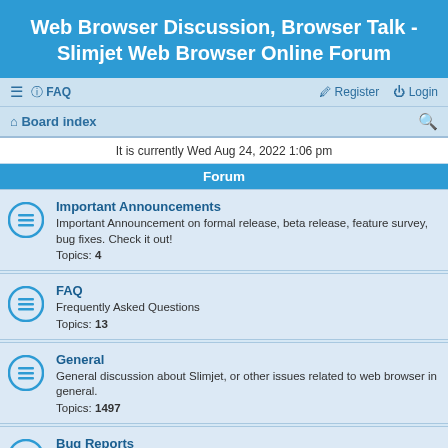Web Browser Discussion, Browser Talk - Slimjet Web Browser Online Forum
≡  FAQ   Register  Login
Board index
It is currently Wed Aug 24, 2022 1:06 pm
Forum
Important Announcements
Important Announcement on formal release, beta release, feature survey, bug fixes. Check it out!
Topics: 4
FAQ
Frequently Asked Questions
Topics: 13
General
General discussion about Slimjet, or other issues related to web browser in general.
Topics: 1497
Bug Reports
Slimjet bug reports
Topics: 643
Known Issues
Known issues, outstanding bugs and available workarounds